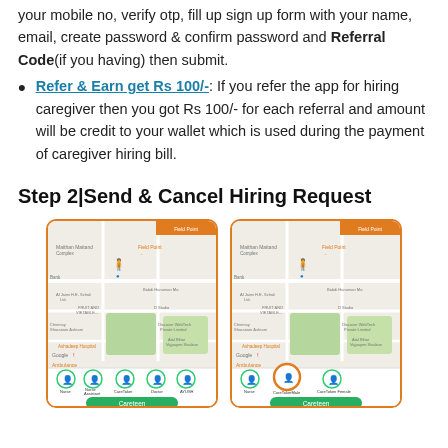your mobile no, verify otp, fill up sign up form with your name, email, create password & confirm password and Referral Code(if you having) then submit.
Refer & Earn get Rs 100/-: If you refer the app for hiring caregiver then you got Rs 100/- for each referral and amount will be credit to your wallet which is used during the payment of caregiver hiring bill.
Step 2|Send & Cancel Hiring Request
[Figure (screenshot): Two side-by-side mobile app screenshots showing a map interface with caregiver category icons at the bottom. The left screenshot shows normal state and the right screenshot highlights the CareTaker category with an orange circle.]